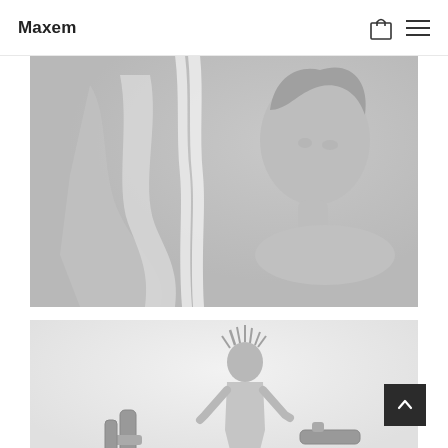Maxem
[Figure (photo): Black and white portrait of a woman with flowing fabric draped over her shoulder, looking sideways]
[Figure (photo): Light gray background photo of a person with dreadlocks posing with camera equipment/a gimbal stabilizer]